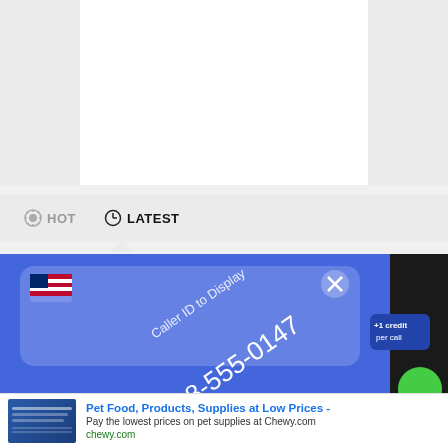[Figure (screenshot): White content area on gray background, representing a webpage with empty content block at top]
HOT   LATEST
[Figure (photo): Close-up photo of a smartphone screen showing a blue caller ID display reading '1-888-555-0147' with Caller ID to Display label, US flag emoji, and X close button]
[Figure (screenshot): Advertisement banner for Chewy.com: Pet Food, Products, Supplies at Low Prices - Pay the lowest prices on pet supplies at Chewy.com]